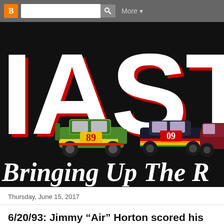Blogger toolbar with B logo, search box, More button
[Figure (logo): IAST blog banner: large white letters 'IAST' with red shadow on black background, three cartoon racing cars numbered 89 and 09, cursive white text 'Bringing Up The R' at bottom]
Thursday, June 15, 2017
6/20/93: Jimmy “Air” Horton scored his place finish at Michigan
On June 2 Horton pi